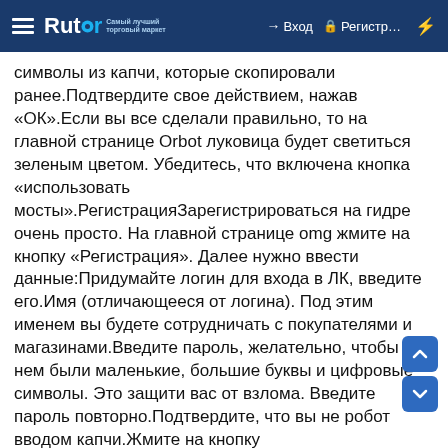Rutor — Вход | Регистр...
символы из капчи, которые скопировали ранее.Подтвердите свое действием, нажав «ОК».Если вы все сделали правильно, то на главной странице Orbot луковица будет светиться зеленым цветом. Убедитесь, что включена кнопка «использовать мосты».РегистрацияЗарегистрироваться на гидре очень просто. На главной странице omg жмите на кнопку «Регистрация». Далее нужно ввести данные:Придумайте логин для входа в ЛК, введите его.Имя (отличающееся от логина). Под этим именем вы будете сотрудничать с покупателями и магазинами.Введите пароль, желательно, чтобы в нем были маленькие, большие буквы и цифровые символы. Это защити вас от взлома. Введите пароль повторно.Подтвердите, что вы не робот вводом капчи.Жмите на кнопку «Зарегистрироваться».Важно! Обязательно прочитайте условия использования сайта и поставьте галочку «Принять».Покупка товараСамый важный вопрос, как покупать товары на сайте omg ? Изначально многие переживали за свою безопасность при использовании ОМГ. Но с момента существования сайт